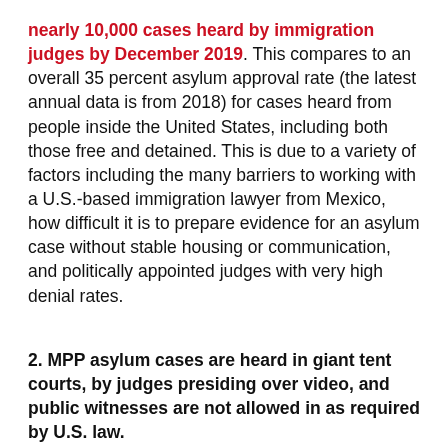nearly 10,000 cases heard by immigration judges by December 2019. This compares to an overall 35 percent asylum approval rate (the latest annual data is from 2018) for cases heard from people inside the United States, including both those free and detained. This is due to a variety of factors including the many barriers to working with a U.S.-based immigration lawyer from Mexico, how difficult it is to prepare evidence for an asylum case without stable housing or communication, and politically appointed judges with very high denial rates.
2. MPP asylum cases are heard in giant tent courts, by judges presiding over video, and public witnesses are not allowed in as required by U.S. law.
On the day of their hearings, asylum-seekers under